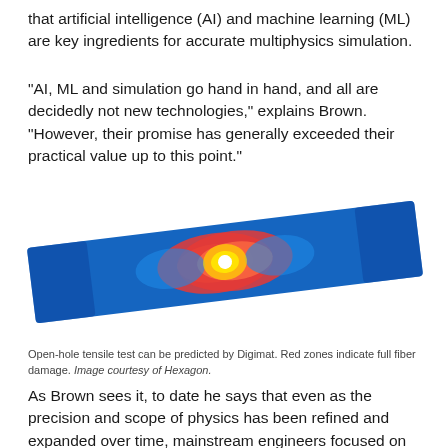that artificial intelligence (AI) and machine learning (ML) are key ingredients for accurate multiphysics simulation.
“AI, ML and simulation go hand in hand, and all are decidedly not new technologies,” explains Brown. “However, their promise has generally exceeded their practical value up to this point.”
[Figure (engineering-diagram): Open-hole tensile test simulation showing a rectangular composite specimen at a slight angle, predominantly blue with a concentration of red and orange at the center around a small white hole, indicating stress/damage zones. The red zones radiate diagonally from the central hole.]
Open-hole tensile test can be predicted by Digimat. Red zones indicate full fiber damage. Image courtesy of Hexagon.
As Brown sees it, to date he says that even as the precision and scope of physics has been refined and expanded over time, mainstream engineers focused on the consumer products, heavy industry and automotive categories have